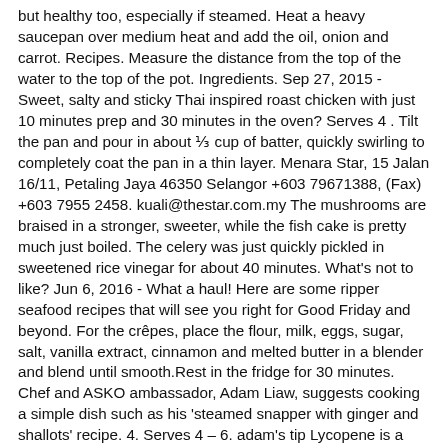but healthy too, especially if steamed. Heat a heavy saucepan over medium heat and add the oil, onion and carrot. Recipes. Measure the distance from the top of the water to the top of the pot. Ingredients. Sep 27, 2015 - Sweet, salty and sticky Thai inspired roast chicken with just 10 minutes prep and 30 minutes in the oven? Serves 4 . Tilt the pan and pour in about ⅓ cup of batter, quickly swirling to completely coat the pan in a thin layer. Menara Star, 15 Jalan 16/11, Petaling Jaya 46350 Selangor +603 79671388, (Fax) +603 7955 2458. kuali@thestar.com.my The mushrooms are braised in a stronger, sweeter, while the fish cake is pretty much just boiled. The celery was just quickly pickled in sweetened rice vinegar for about 40 minutes. What's not to like? Jun 6, 2016 - What a haul! Here are some ripper seafood recipes that will see you right for Good Friday and beyond. For the crêpes, place the flour, milk, eggs, sugar, salt, vanilla extract, cinnamon and melted butter in a blender and blend until smooth.Rest in the fridge for 30 minutes. Chef and ASKO ambassador, Adam Liaw, suggests cooking a simple dish such as his 'steamed snapper with ginger and shallots' recipe. 4. Serves 4 – 6. adam's tip Lycopene is a powerful antioxidant that may help combat everything from heart disease to ageing. 200g chicken thigh, skin removed and thinly sliced 2 tbsp peanut oil, or other vegetable oil 2 thick slices of ginger, bruised 3 cloves garlic, roughly chopped 2-3 large leaves of Chinese cabbage, sliced 1 small carrot, cut into matchsticks 100g peeled and deveined raw prawns, butterflied 1 tbsp AYAM oyster sauce Cut the backbone into pieces and place in the base of